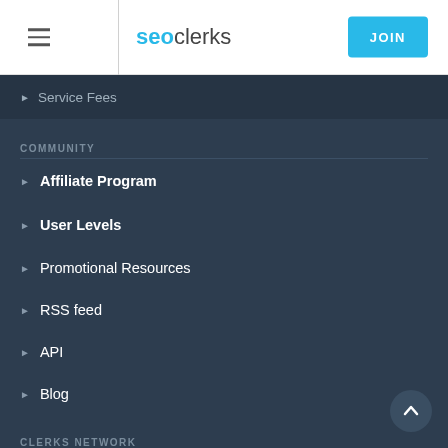seoclerks — JOIN
Service Fees
COMMUNITY
Affiliate Program
User Levels
Promotional Resources
RSS feed
API
Blog
CLERKS NETWORK
Ionicware